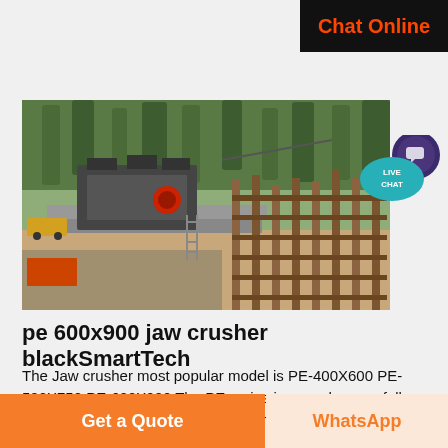Chat Online
[Figure (photo): Industrial jaw crusher machine at an outdoor construction/mining site with wooden scaffolding and trees in the background]
[Figure (other): Live Chat button bubble — teal speech bubble with 'LIVE CHAT' text and dark purple chat icon]
pe 600x900 jaw crusher blackSmartTech
The Jaw crusher most popular model is PE-400X600 PE-500X750 PE-600X900 The PE series jaw crusher can fully guarantee customers crushing requirements from
Get a Quote
WhatsApp